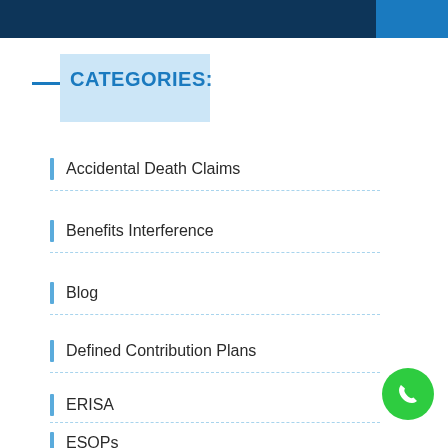CATEGORIES:
Accidental Death Claims
Benefits Interference
Blog
Defined Contribution Plans
ERISA
ESOPs